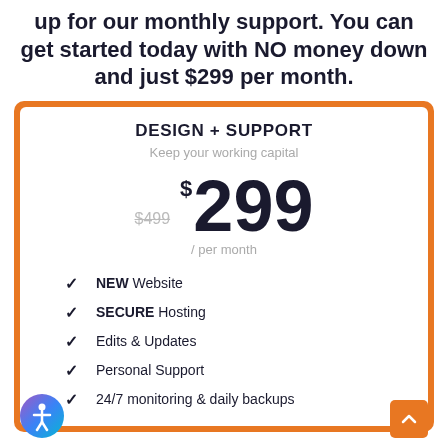up for our monthly support. You can get started today with NO money down and just $299 per month.
DESIGN + SUPPORT
Keep your working capital
$499  $299 / per month
NEW Website
SECURE Hosting
Edits & Updates
Personal Support
24/7 monitoring & daily backups